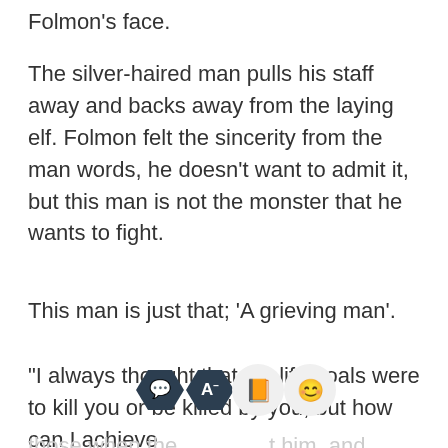Folmon's face.
The silver-haired man pulls his staff away and backs away from the laying elf. Folmon felt the sincerity from the man words, he doesn't want to admit it, but this man is not the monster that he wants to fight.
This man is just that; 'A grieving man'.
"I always thought that my life goals were to kill you or be killed by you, but how can I achieve those when the… [text continues]"
[Figure (screenshot): App toolbar with four buttons: comment bubble (dark hexagon), font/text (dark hexagon with A-), book (orange circle), and emoji face (light circle with happy emoji)]